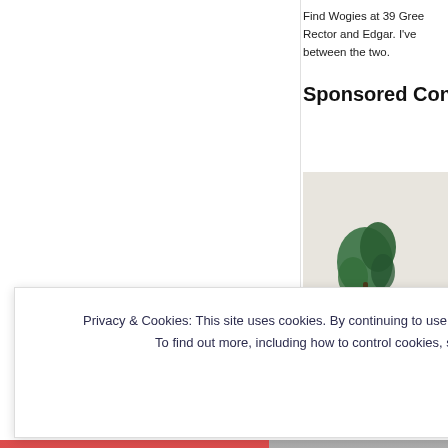Find Wogies at 39 Gree... Rector and Edgar. I've been between the two.
Sponsored Con...
[Figure (photo): Blurred photo of a room with a green plant and beige/tan object, possibly a cat, with neutral light background.]
Privacy & Cookies: This site uses cookies. By continuing to use this website, you agree to their use.
To find out more, including how to control cookies, see here: Cookie Policy
Close and accept